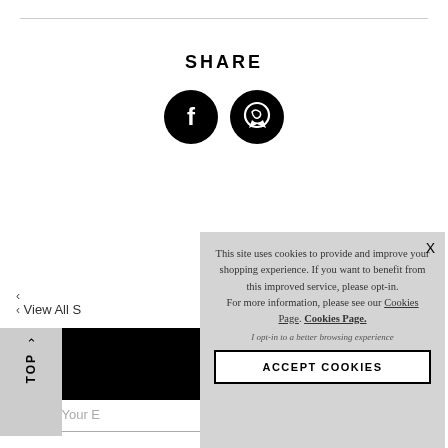SHARE
[Figure (illustration): Two circular black social media share buttons: Facebook (f) and WhatsApp (phone/chat icon)]
< View All S
[Figure (other): Black navigation bar with TOP button on grey background with upward chevron]
Enter Your E
This site uses cookies to provide and improve your shopping experience. If you want to benefit from this improved service, please opt-in.
For more information, please see our Cookies Page. Cookies Page.
I opt-in to a better browsing experience
ACCEPT COOKIES